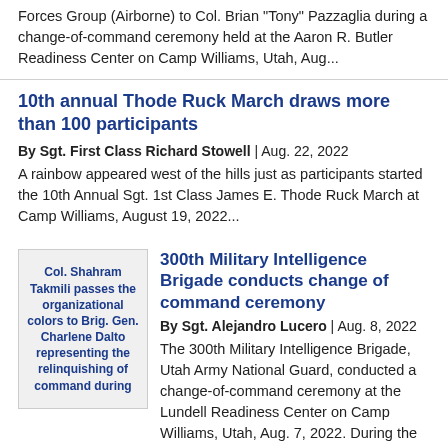Forces Group (Airborne) to Col. Brian “Tony” Pazzaglia during a change-of-command ceremony held at the Aaron R. Butler Readiness Center on Camp Williams, Utah, Aug...
10th annual Thode Ruck March draws more than 100 participants
By Sgt. First Class Richard Stowell | Aug. 22, 2022
A rainbow appeared west of the hills just as participants started the 10th Annual Sgt. 1st Class James E. Thode Ruck March at Camp Williams, August 19, 2022...
[Figure (photo): Col. Shahram Takmili passes the organizational colors to Brig. Gen. Charlene Dalto representing the relinquishing of command during]
300th Military Intelligence Brigade conducts change of command ceremony
By Sgt. Alejandro Lucero | Aug. 8, 2022
The 300th Military Intelligence Brigade, Utah Army National Guard, conducted a change-of-command ceremony at the Lundell Readiness Center on Camp Williams, Utah, Aug. 7, 2022. During the ceremony, Col. Shahram Takmili...
[Figure (photo): Outdoor scene photo]
Utah National Guard's UPF...